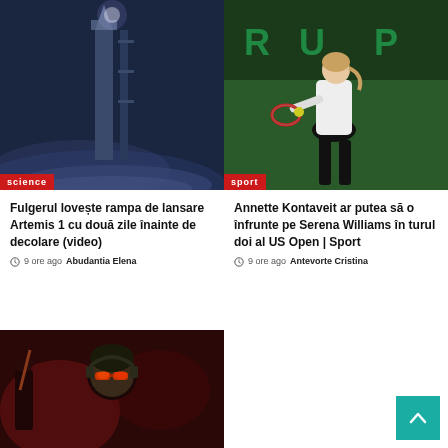[Figure (photo): Rocket on launch pad at night with fog and lights, science category badge]
[Figure (photo): Female tennis player hitting a backhand shot on indoor court, sport category badge]
Fulgerul lovește rampa de lansare Artemis 1 cu două zile înainte de decolare (video)
9 ore ago  Abudantia Elena
Annette Kontaveit ar putea să o înfrunte pe Serena Williams în turul doi al US Open | Sport
9 ore ago  Antevorte Cristina
[Figure (photo): Gaming/character image at bottom left]